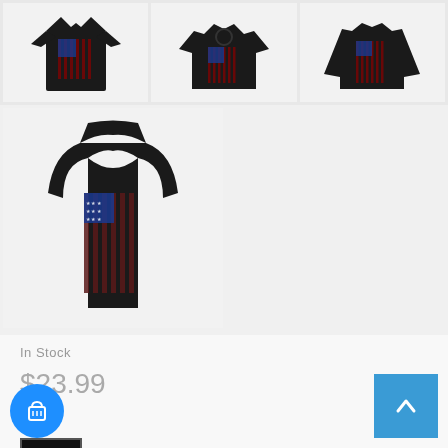[Figure (photo): Three clothing product thumbnail images in a row: a black t-shirt, a black hoodie, and a black long-sleeve shirt, each with an American flag design]
[Figure (photo): Black racerback tank top with American flag design made of rifles/guns]
In Stock
$23.99
Color
[Figure (photo): Small black t-shirt color swatch thumbnail with selected border]
Size
[Figure (other): Blue circular cart button with basket icon at bottom left]
[Figure (other): Blue square scroll-to-top button with upward arrow at bottom right]